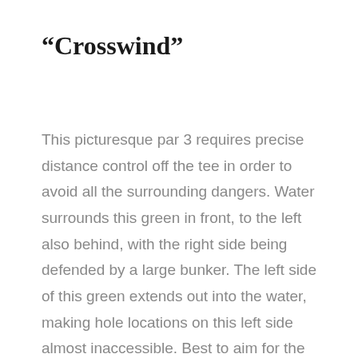“Crosswind”
This picturesque par 3 requires precise distance control off the tee in order to avoid all the surrounding dangers. Water surrounds this green in front, to the left also behind, with the right side being defended by a large bunker. The left side of this green extends out into the water, making hole locations on this left side almost inaccessible. Best to aim for the right center of the green and take your chances with a lengthy putt.